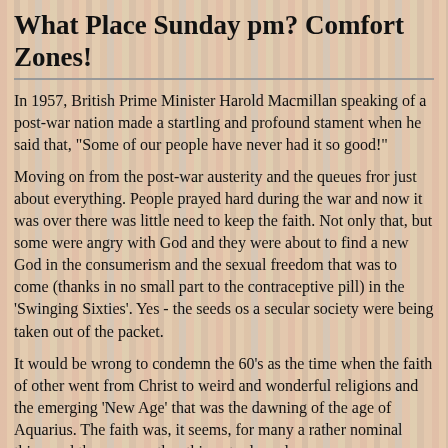What Place Sunday pm? Comfort Zones!
In 1957, British Prime Minister Harold Macmillan speaking of a post-war nation made a startling and profound stament when he said that, "Some of our people have never had it so good!"
Moving on from the post-war austerity and the queues fror just about everything. People prayed hard during the war and now it was over there was little need to keep the faith. Not only that, but some were angry with God and they were about to find a new God in the consumerism and the sexual freedom that was to come (thanks in no small part to the contraceptive pill) in the 'Swinging Sixties'. Yes - the seeds os a secular society were being taken out of the packet.
It would be wrong to condemn the 60's as the time when the faith of other went from Christ to weird and wonderful religions and the emerging 'New Age' that was the dawning of the age of Aquarius. The faith was, it seems, for many a rather nominal thing and there were other things to do and